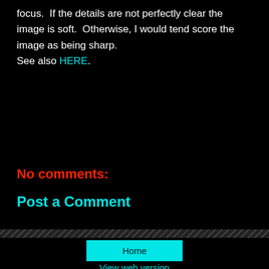focus.  If the details are not perfectly clear the image is soft.  Otherwise, I would tend score the image as being sharp.
See also HERE.
No comments:
Post a Comment
Home
View web version
Powered by Blogger.